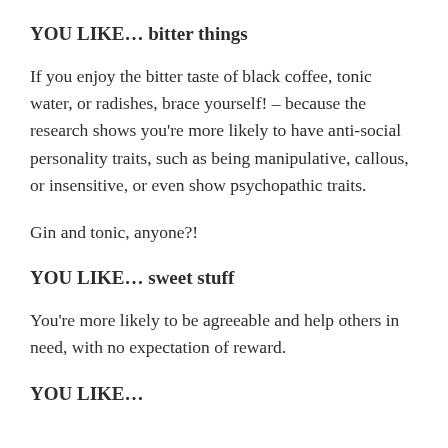YOU LIKE… bitter things
If you enjoy the bitter taste of black coffee, tonic water, or radishes, brace yourself! – because the research shows you're more likely to have anti-social personality traits, such as being manipulative, callous, or insensitive, or even show psychopathic traits.
Gin and tonic, anyone?!
YOU LIKE… sweet stuff
You're more likely to be agreeable and help others in need, with no expectation of reward.
YOU LIKE…